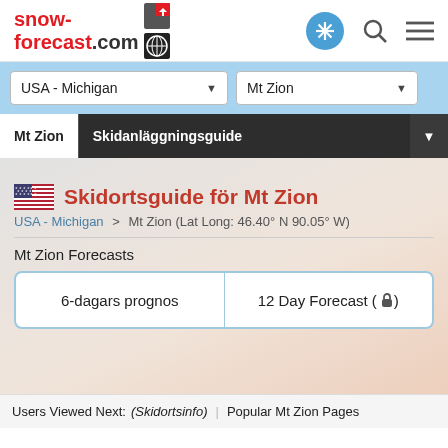snow-forecast.com
USA - Michigan | Mt Zion (dropdowns)
Mt Zion | Skidanläggningsguide
Skidortsguide för Mt Zion
USA - Michigan > Mt Zion (Lat Long: 46.40° N 90.05° W)
Mt Zion Forecasts
6-dagars prognos | 12 Day Forecast (🔒)
Users Viewed Next: (Skidortsinfo) | Popular Mt Zion Pages